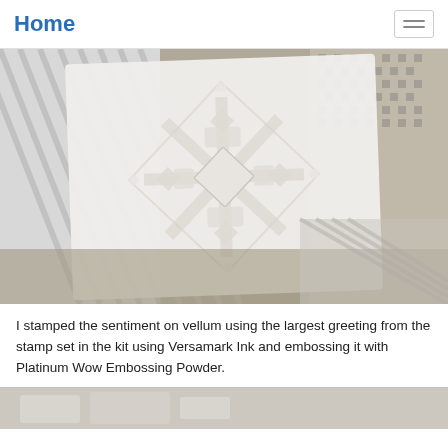Home
[Figure (photo): Close-up photo of a white embossed snowflake design on vellum paper, surrounded by grey striped and houndstooth patterned paper backgrounds]
I stamped the sentiment on vellum using the largest greeting from the stamp set in the kit using Versamark Ink and embossing it with Platinum Wow Embossing Powder.
[Figure (photo): Partial view of another craft project photo at the bottom of the page]